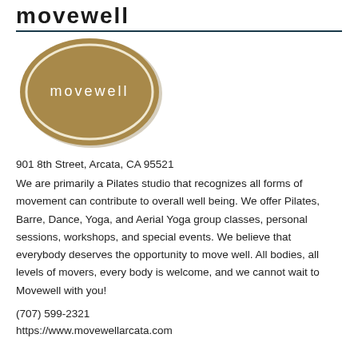movewell
[Figure (logo): Oval gold/tan logo with white inner oval border and white text reading 'movewell' in lowercase letters]
901 8th Street, Arcata, CA 95521
We are primarily a Pilates studio that recognizes all forms of movement can contribute to overall well being. We offer Pilates, Barre, Dance, Yoga, and Aerial Yoga group classes, personal sessions, workshops, and special events. We believe that everybody deserves the opportunity to move well. All bodies, all levels of movers, every body is welcome, and we cannot wait to Movewell with you!
(707) 599-2321
https://www.movewellarcata.com